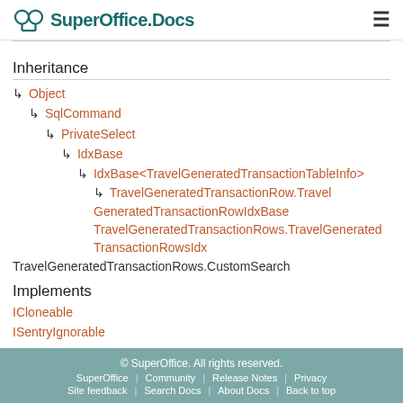SuperOffice Docs
Inheritance
↳ Object
↳ SqlCommand
↳ PrivateSelect
↳ IdxBase
↳ IdxBase<TravelGeneratedTransactionTableInfo>
↳ TravelGeneratedTransactionRow.TravelGeneratedTransactionRowIdxBase TravelGeneratedTransactionRows.TravelGeneratedTransactionRowsIdx
TravelGeneratedTransactionRows.CustomSearch
Implements
ICloneable
ISentryIgnorable
Inherited Members
© SuperOffice. All rights reserved. SuperOffice | Community | Release Notes | Privacy | Site feedback | Search Docs | About Docs | Back to top